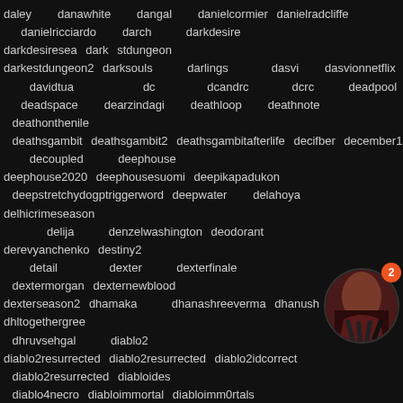daley danawhite dangal danielcormier danielradcliffe danielricciardo darch darkdesire darkdesiresseason darkestdungeon darkestdungeon2 darksouls darlings dasvi dasvionnetflix davidtua dc dcandrc dcrc deadpool deadspace dearzindagi deathloop deathnote deathonthenile deathsgambit deathsgambit2 deathsgambitafterlife decifber december18 decoupled deephouse deephouse2020 deephousesuomi deepikapadukon deepstretchydogptriggerword deepwater delahoya delhicrimeseason2 delija denzelwashington deodorant derevyanchenko destiny2 detail dexter dexterfinale dextermorgan dexternewblood dexterseason2 dhamaka dhanashreeverma dhanush dhltogethergreenday dhruvsehgal diablo2 diablo2resurrected diablo2resurrected2 diablo2idsorrect diablo2resurrected diabloides diablo4necromancer diabloimmortal diabloimm0rtals diablomobile dianekruger diaz diazlawler2 digitalextremes dillashaw directorsroundtable diyali2021k disciplesliberation discovery dishapatani disney disney
[Figure (photo): Circular thumbnail image of a person, partially visible, with a red notification badge showing the number 2]